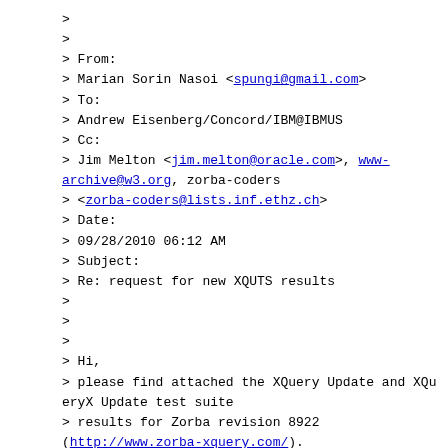> 
> 
> From:
> Marian Sorin Nasoi <spungi@gmail.com>
> To:
> Andrew Eisenberg/Concord/IBM@IBMUS
> Cc:
> Jim Melton <jim.melton@oracle.com>, www-archive@w3.org, zorba-coders
> <zorba-coders@lists.inf.ethz.ch>
> Date:
> 09/28/2010 06:12 AM
> Subject:
> Re: request for new XQUTS results
>
>
>
> Hi,
> please find attached the XQuery Update and XQueryX Update test suite
> results for Zorba revision 8922 (http://www.zorba-xquery.com/).
>
> The results are based on the XQUTS taken from the W3C CVS on September 28,
> 2010.
>
> I hope this helps,
> Sorin